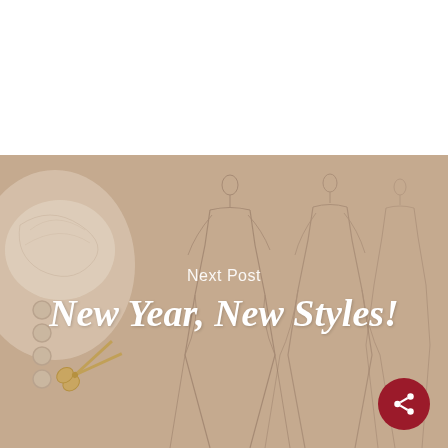[Figure (photo): White blank space at top of page]
[Figure (photo): Fashion blog banner with beige/tan background showing fashion sketches of gowns, a lace fabric detail, gold buttons, and gold scissors. Overlaid with semi-transparent warm tint.]
Next Post
New Year, New Styles!